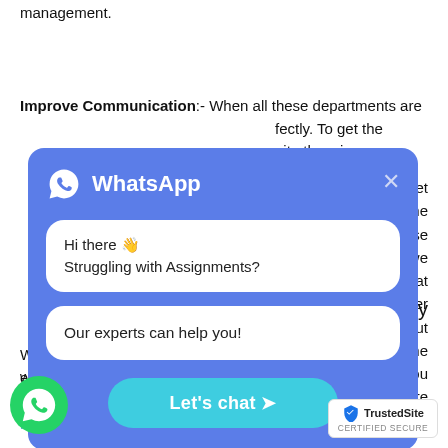management.
Improve Communication:- When all these departments are c… fectly. To get the … nit otherwise we … part is that after … know about the … ses that you are
[Figure (screenshot): WhatsApp chat popup with blue background showing 'Hi there 👋 Struggling with Assignments?' and 'Our experts can help you!' messages, with a 'Let's chat ➤' button]
We have team of knowledgeable and best writers and they know… est way to write the entire topics so that students… the impressive marks with Quality Management a…
[Figure (logo): Floating green WhatsApp button bottom left]
[Figure (logo): TrustedSite CERTIFIED SECURE badge bottom right]